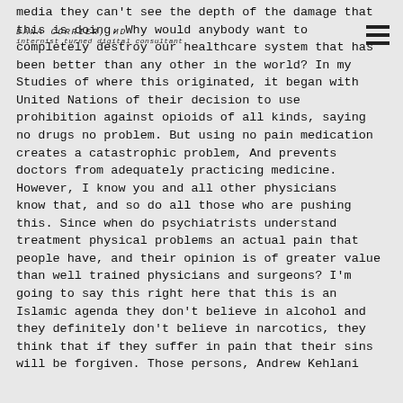DANA CORRIER, MD
internist turned digital consultant
media they can't see the depth of the damage that this is doing. Why would anybody want to completely destroy our healthcare system that has been better than any other in the world? In my Studies of where this originated, it began with United Nations of their decision to use prohibition against opioids of all kinds, saying no drugs no problem. But using no pain medication creates a catastrophic problem, And prevents doctors from adequately practicing medicine. However, I know you and all other physicians know that, and so do all those who are pushing this. Since when do psychiatrists understand treatment physical problems an actual pain that people have, and their opinion is of greater value than well trained physicians and surgeons? I'm going to say this right here that this is an Islamic agenda they don't believe in alcohol and they definitely don't believe in narcotics, they think that if they suffer in pain that their sins will be forgiven. Those persons, Andrew Kehlani